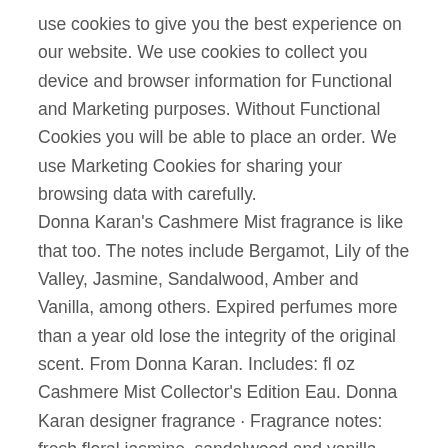use cookies to give you the best experience on our website. We use cookies to collect you device and browser information for Functional and Marketing purposes. Without Functional Cookies you will be able to place an order. We use Marketing Cookies for sharing your browsing data with carefully.
Donna Karan's Cashmere Mist fragrance is like that too. The notes include Bergamot, Lily of the Valley, Jasmine, Sandalwood, Amber and Vanilla, among others. Expired perfumes more than a year old lose the integrity of the original scent. From Donna Karan. Includes: fl oz Cashmere Mist Collector's Edition Eau. Donna Karan designer fragrance · Fragrance notes: fresh floral jasmine, sandalwood and vanilla · Cashmere Mist perfume is warm and elegant · A wonderful gift any.
Cashmere Mist from Donna Karan is a fresh, warm fragrance for women. A delightful, fresh floral jasmine